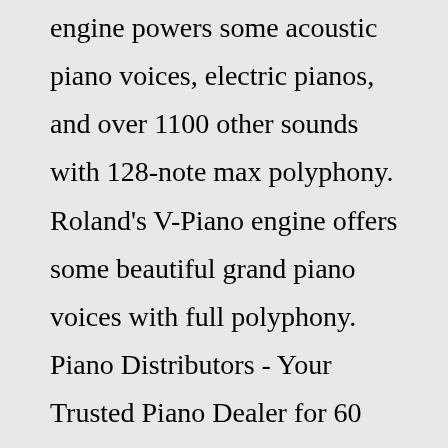engine powers some acoustic piano voices, electric pianos, and over 1100 other sounds with 128-note max polyphony. Roland's V-Piano engine offers some beautiful grand piano voices with full polyphony. Piano Distributors - Your Trusted Piano Dealer for 60 Years Yamaha Pianos, and Digital Pianos Find New and Used Pianos in the following locations: Atlanta Area, Jupiter, Tampa, Orlando, Naples, Sarasota, and Clearwater. We carry all Yamaha pianos, including the